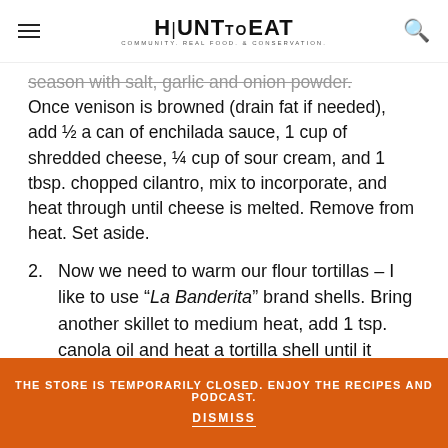HUNT to EAT — Community. Real Food. & Conservation.
season with salt, garlic and onion powder. Once venison is browned (drain fat if needed), add ½ a can of enchilada sauce, 1 cup of shredded cheese, ¼ cup of sour cream, and 1 tbsp. chopped cilantro, mix to incorporate, and heat through until cheese is melted. Remove from heat. Set aside.
2. Now we need to warm our flour tortillas – I like to use "La Banderita" brand shells. Bring another skillet to medium heat, add 1 tsp. canola oil and heat a tortilla shell until it begins to form bubbles, then flip over and
THE STORE IS TEMPORARILY CLOSED. ENJOY THE RECIPES AND PODCAST. DISMISS